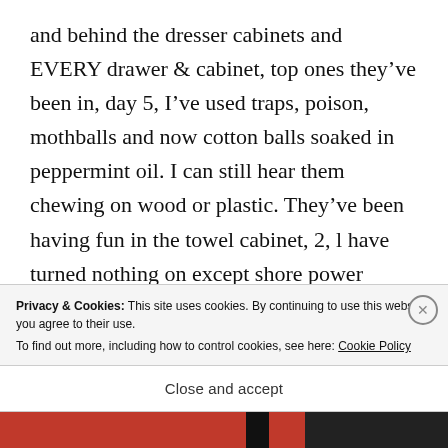and behind the dresser cabinets and EVERY drawer & cabinet, top ones they've been in, day 5, I've used traps, poison, mothballs and now cotton balls soaked in peppermint oil. I can still hear them chewing on wood or plastic. They've been having fun in the towel cabinet, 2, l have turned nothing on except shore power lights. They need EVICTING. ALSO when I was putting the
Privacy & Cookies: This site uses cookies. By continuing to use this website, you agree to their use.
To find out more, including how to control cookies, see here: Cookie Policy
Close and accept